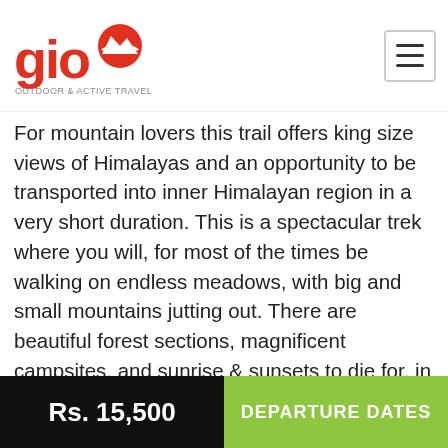GIO Adventure & Active Travel logo and navigation
explorer, Eric Shipton, who said: "A vision of such beauty is worth a world of striving."
For mountain lovers this trail offers king size views of Himalayas and an opportunity to be transported into inner Himalayan region in a very short duration. This is a spectacular trek where you will, for most of the times be walking on endless meadows, with big and small mountains jutting out. There are beautiful forest sections, magnificent campsites, and sunrise & sunsets to die for, in addition to many more enjoyable facets of the Himalayas which make trekking a worthwhile activity.
SEARCH ITINERARY
Rs. 15,500   DEPARTURE DATES